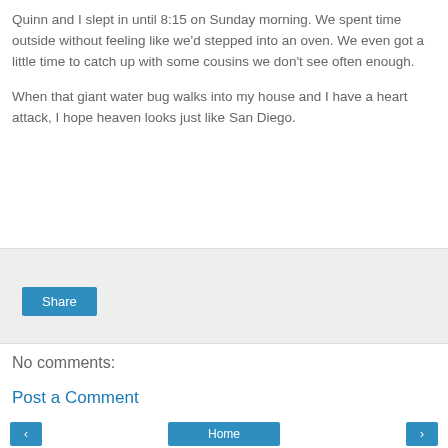Quinn and I slept in until 8:15 on Sunday morning. We spent time outside without feeling like we'd stepped into an oven. We even got a little time to catch up with some cousins we don't see often enough.
When that giant water bug walks into my house and I have a heart attack, I hope heaven looks just like San Diego.
[Figure (other): Share button area with light gray background]
No comments:
Post a Comment
Home navigation buttons: back arrow, Home, forward arrow